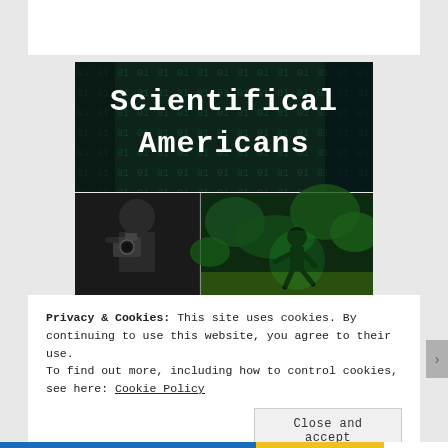[Figure (illustration): Book cover for 'Scientifical Americans' showing title text in white typewriter font on dark background with digital matrix pattern, and below that two images: a person holding a camera (left) and a green-tinted figure of a bigfoot/creature running through forest (right)]
Privacy & Cookies: This site uses cookies. By continuing to use this website, you agree to their use.
To find out more, including how to control cookies, see here: Cookie Policy
Close and accept